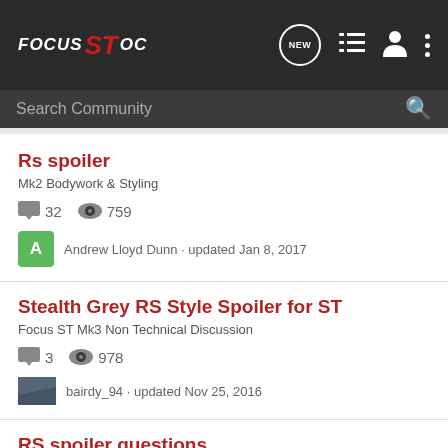Focus ST OC — navigation header with search bar
Rs spoiler
Mk2 Bodywork & Styling
32 comments · 759 views · Andrew Lloyd Dunn · updated Jan 8, 2017
Stealth Grey RS Style Spoiler for ST
Focus ST Mk3 Non Technical Discussion
3 comments · 978 views · bairdy_94 · updated Nov 25, 2016
RS spoiler questions